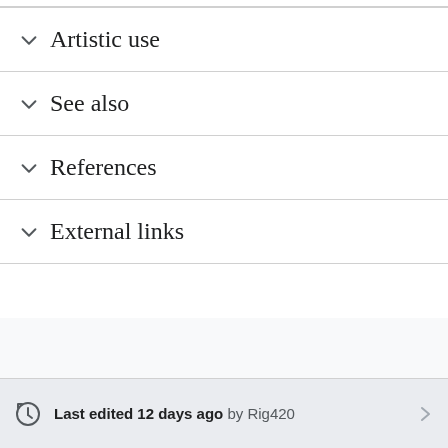Artistic use
See also
References
External links
Last edited 12 days ago by Rig420